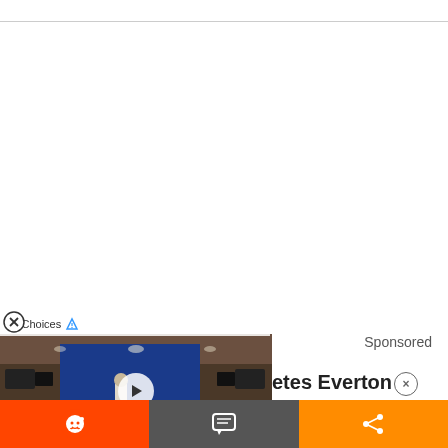[Figure (screenshot): White content area with top border bar — webpage background]
[Figure (screenshot): AdChoices label with D icon overlay on video ad]
[Figure (photo): Video thumbnail showing a dark press conference room with a blue branded backdrop and audience silhouettes, with a white play button overlay]
Sponsored
etes Everton×
[Figure (screenshot): Bottom toolbar with three buttons: Reddit (orange), Comment (dark gray), Share (orange)]